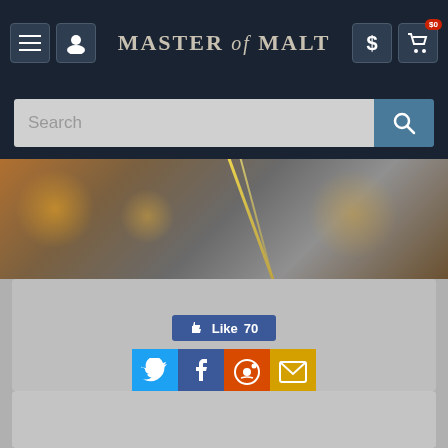Master of Malt — navigation bar with menu, user, logo, dollar, cart ($0)
[Figure (screenshot): Search bar with text input field and search button]
[Figure (photo): Blurred bokeh background photo with warm orange and gold tones, partial view of a glass or bottle]
Share This!
[Figure (infographic): Facebook Like button showing count of 70, with Twitter, Facebook, Reddit, and Email share icons]
About Salcombe
Distillery